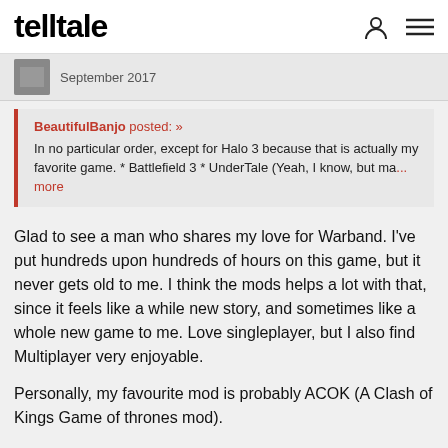telltale
September 2017
BeautifulBanjo posted: » In no particular order, except for Halo 3 because that is actually my favorite game. * Battlefield 3 * UnderTale (Yeah, I know, but ma... more
Glad to see a man who shares my love for Warband. I've put hundreds upon hundreds of hours on this game, but it never gets old to me. I think the mods helps a lot with that, since it feels like a while new story, and sometimes like a whole new game to me. Love singleplayer, but I also find Multiplayer very enjoyable.
Personally, my favourite mod is probably ACOK (A Clash of Kings Game of thrones mod).
Oh man, I'm so hyped for Bannerlord.